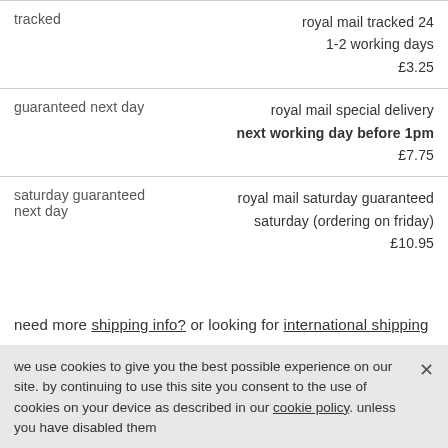| service type | details |
| --- | --- |
| tracked | royal mail tracked 24
1-2 working days
£3.25 |
| guaranteed next day | royal mail special delivery
next working day before 1pm
£7.75 |
| saturday guaranteed next day | royal mail saturday guaranteed
saturday (ordering on friday)
£10.95 |
need more shipping info? or looking for international shipping
you might be interested in these as well:
we use cookies to give you the best possible experience on our site. by continuing to use this site you consent to the use of cookies on your device as described in our cookie policy. unless you have disabled them